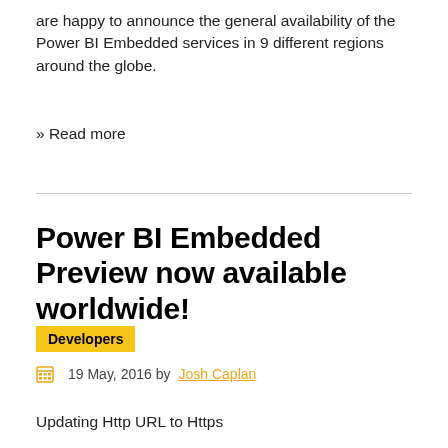are happy to announce the general availability of the Power BI Embedded services in 9 different regions around the globe.
» Read more
Power BI Embedded Preview now available worldwide!
Developers
19 May, 2016 by Josh Caplan
Updating Http URL to Https